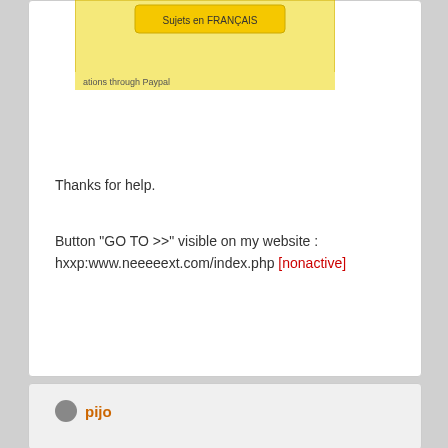[Figure (screenshot): Partial screenshot of a website showing a yellow box with 'Sujets en FRANÇAIS' button and text 'ations through Paypal' at the bottom]
Thanks for help.
Button "GO TO >>" visible on my website : hxxp:www.neeeeext.com/index.php [nonactive]
pijo